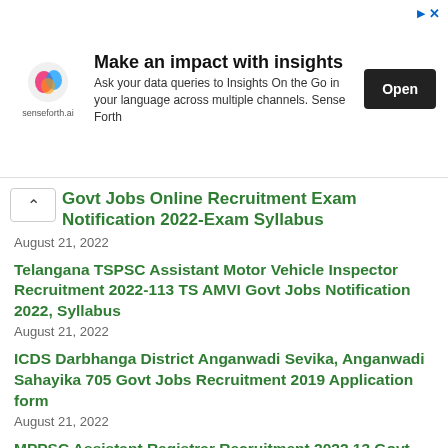[Figure (infographic): Advertisement banner for senseforth.ai: 'Make an impact with insights' — Ask your data queries to Insights On the Go in your language across multiple channels. Sense Forth. Open button.]
Govt Jobs Online Recruitment Exam Notification 2022-Exam Syllabus
August 21, 2022
Telangana TSPSC Assistant Motor Vehicle Inspector Recruitment 2022-113 TS AMVI Govt Jobs Notification 2022, Syllabus
August 21, 2022
ICDS Darbhanga District Anganwadi Sevika, Anganwadi Sahayika 705 Govt Jobs Recruitment 2019 Application form
August 21, 2022
MPPSC Assistant Registrar Recruitment 2022 13 Govt Jobs Online Form